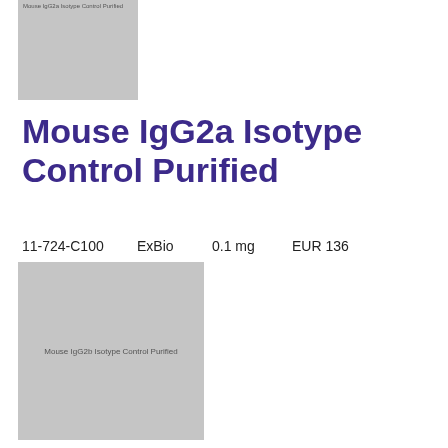[Figure (photo): Small thumbnail image placeholder for Mouse IgG2a Isotype Control Purified product, grey rectangle with label text]
Mouse IgG2a Isotype Control Purified
11-724-C100   ExBio   0.1 mg   EUR 136
[Figure (photo): Larger thumbnail image placeholder for Mouse IgG2b Isotype Control Purified product, grey rectangle with label text]
Mouse IgG2b Isotype Control Purified
11-801-C025   ExBio   0.025 mg   EUR 88
[Figure (photo): Small bottom thumbnail image placeholder, grey rectangle]